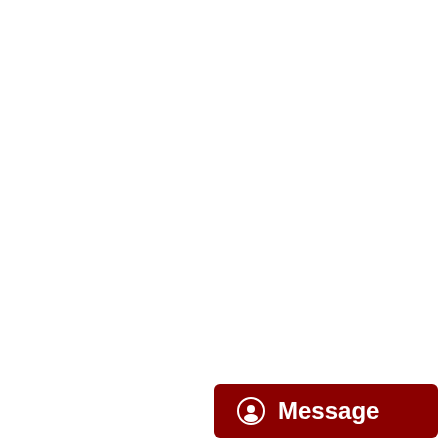[Figure (other): White/blank upper portion of a product page (image area not visible)]
Artwork | Delivery | More Info (tab navigation)
To design online or upload your own artwork, you simply select your banner sizes and options and add to basket, as you proceed through the checkout you will have the option to upload or design online. If you select design online, a designer application will open allowing you to create your very own bespoke banner design. The designer facility allows you to insert images, logos, create shapes and text in a variety of font styles.
If you prefer to upload a design you've made also be done in the checkout stage.